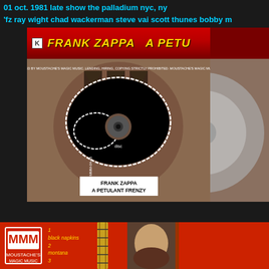01 oct. 1981 late show the palladium nyc, ny
'fz ray wight chad wackerman steve vai scott thunes bobby m
[Figure (photo): Frank Zappa 'A Petulant Frenzy' CD - showing the disc label with black map silhouette on reddish-brown background, white label at bottom reading 'FRANK ZAPPA A PETULANT FRENZY', circular text around the edge about Moustache's Magic Music distribution, MMM-04-15 catalog number]
[Figure (photo): Partial view of another CD or disc edge, silvery appearance on right side]
[Figure (photo): Bottom banner showing Moustache's Magic Music logo, tracklist with 'black napkins', 'montana', guitar neck image, and partial face/photo on red background]